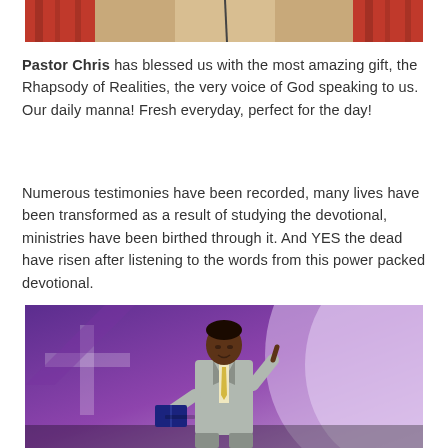[Figure (photo): Partial top image showing people in red and beige clothing, cropped at top of page]
Pastor Chris has blessed us with the most amazing gift, the Rhapsody of Realities, the very voice of God speaking to us. Our daily manna! Fresh everyday, perfect for the day!
Numerous testimonies have been recorded, many lives have been transformed as a result of studying the devotional, ministries have been birthed through it. And YES the dead have risen after listening to the words from this power packed devotional.
[Figure (photo): Pastor Chris Oyakhilome standing on stage in a grey suit with yellow tie, holding a book and raising one finger, against a purple and white background with cross-like design]